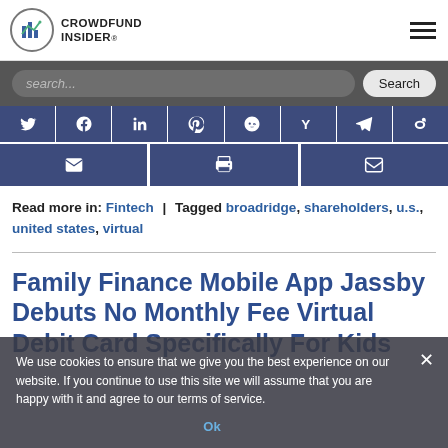[Figure (logo): Crowdfund Insider logo with circular chart icon]
[Figure (screenshot): Search bar with dark background, search input field and Search button]
[Figure (infographic): Social share icons row: Twitter, Facebook, LinkedIn, Pinterest, Reddit, Yummly, Telegram, Weibo; and action row: email, print, email]
Read more in: Fintech | Tagged broadridge, shareholders, u.s., united states, virtual
Family Finance Mobile App Jassby Debuts No Monthly Fee Virtual Debit Card Specifically For Kids
We use cookies to ensure that we give you the best experience on our website. If you continue to use this site we will assume that you are happy with it and agree to our terms of service.